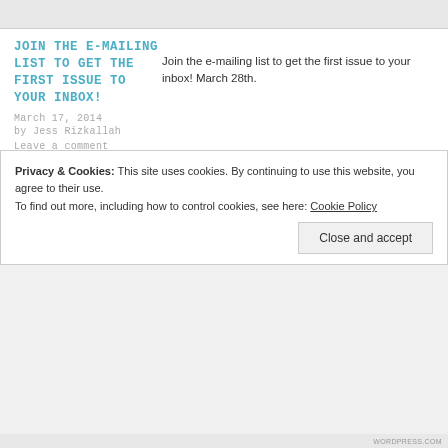JOIN THE E-MAILING LIST TO GET THE FIRST ISSUE TO YOUR INBOX!
March 17, 2014
by Jess Rizkallah
Leave a comment
Join the e-mailing list to get the first issue to your inbox! March 28th.
Uncategorized
Privacy & Cookies: This site uses cookies. By continuing to use this website, you agree to their use.
To find out more, including how to control cookies, see here: Cookie Policy
Close and accept
WORDPRESS.COM